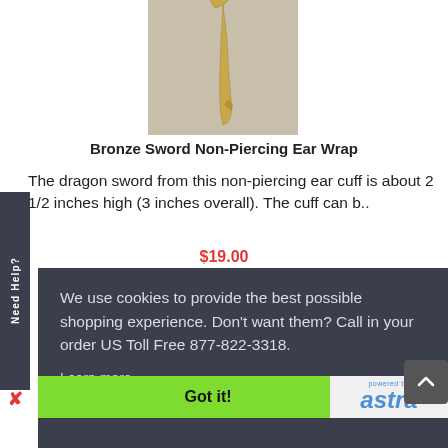[Figure (photo): Product photo of a bronze sword-shaped non-piercing ear wrap/cuff, shown against a light brown background]
Bronze Sword Non-Piercing Ear Wrap
The dragon sword from this non-piercing ear cuff is about 2 1/2 inches high (3 inches overall). The cuff can b..
$19.00
Need Help?
We use cookies to provide the best possible shopping experience. Don't want them? Call in your order US Toll Free 877-822-3318.
Learn more
Got it!
[Figure (logo): Powered by astra logo in blue]
[Figure (photo): Bottom strip of another jewelry product photo]